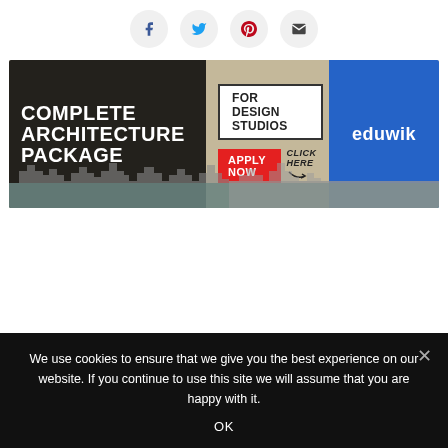[Figure (other): Social share buttons row: Facebook (f), Twitter (bird), Pinterest (P), Email (envelope) icons in circular grey buttons]
[Figure (infographic): Eduwik advertisement banner: 'COMPLETE ARCHITECTURE PACKAGE' on black left panel, 'FOR DESIGN STUDIOS APPLY NOW CLICK HERE' in middle, blue panel with 'eduwik' text on right, city skyline at bottom]
We use cookies to ensure that we give you the best experience on our website. If you continue to use this site we will assume that you are happy with it.
OK